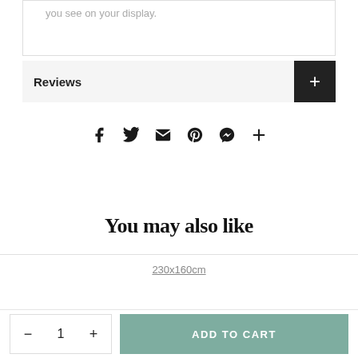you see on your display.
Reviews
[Figure (other): Social share icons: Facebook, Twitter, Email, Pinterest, Messenger, More (+)]
You may also like
230x160cm
− 1 +  ADD TO CART